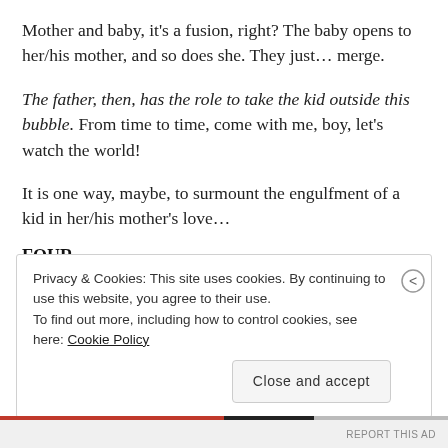Mother and baby, it's a fusion, right? The baby opens to her/his mother, and so does she. They just... merge.
The father, then, has the role to take the kid outside this bubble. From time to time, come with me, boy, let's watch the world!
It is one way, maybe, to surmount the engulfment of a kid in her/his mother's love...
FOUR
Privacy & Cookies: This site uses cookies. By continuing to use this website, you agree to their use.
To find out more, including how to control cookies, see here: Cookie Policy
Close and accept